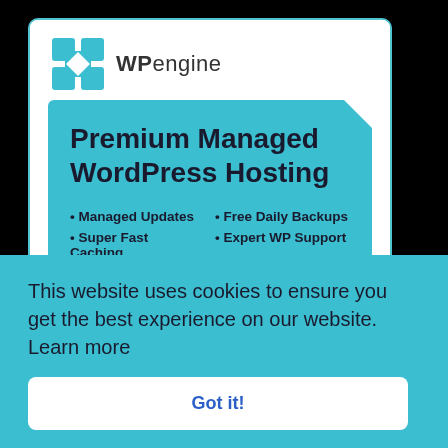[Figure (logo): WP Engine logo with teal grid icon and 'WPengine' text]
Premium Managed WordPress Hosting
• Managed Updates
• Free Daily Backups
• Super Fast Caching
• Expert WP Support
Try It Now For 60 Days
This website uses cookies to ensure you get the best experience on our website.  Learn more
Got it!